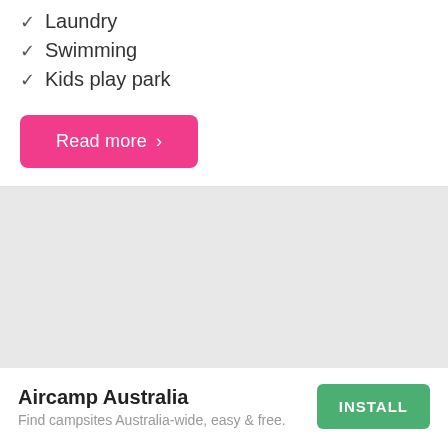✓ Laundry
✓ Swimming
✓ Kids play park
Read more ›
[Figure (map): Gray placeholder map area]
Aircamp Australia
Find campsites Australia-wide, easy & free.
INSTALL